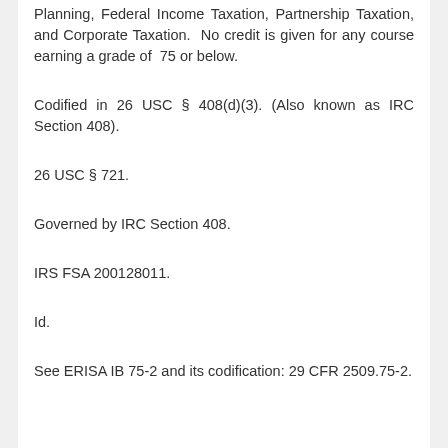Planning, Federal Income Taxation, Partnership Taxation, and Corporate Taxation.  No credit is given for any course earning a grade of  75 or below.
Codified in 26 USC § 408(d)(3). (Also known as IRC Section 408).
26 USC § 721.
Governed by IRC Section 408.
IRS FSA 200128011.
Id.
See ERISA IB 75-2 and its codification: 29 CFR 2509.75-2.